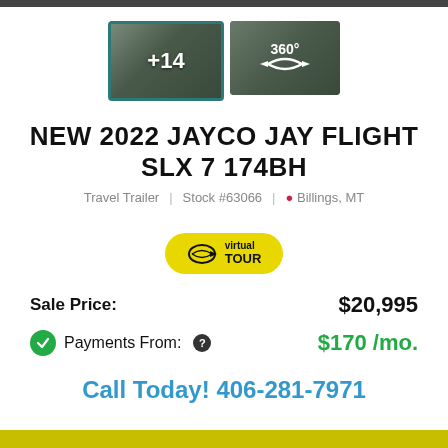[Figure (photo): Two thumbnail images of RV interior: first selected with teal border showing '+14' text overlay, second showing '360°' virtual tour icon]
NEW 2022 JAYCO JAY FLIGHT SLX 7 174BH
Travel Trailer   Stock #63066   📍 Billings, MT
[Figure (other): Yellow virtual TOUR button with 360 arrow icon]
Sale Price:   $20,995
✓ Payments From: ❓   $170 /mo.
Call Today! 406-281-7971